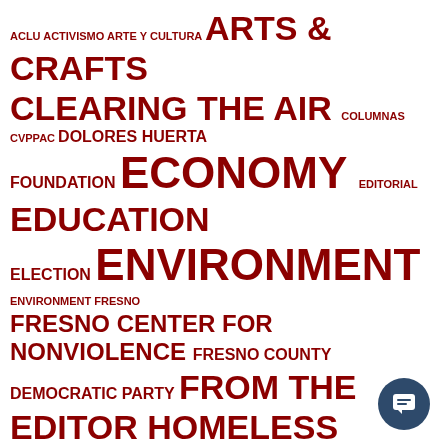[Figure (infographic): Tag cloud of topic categories in dark red on white background, ranging from small to very large text sizes indicating frequency/importance. Topics include: ACLU, ACTIVISMO, ARTE Y CULTURA, ARTS & CRAFTS, CLEARING THE AIR, COLUMNAS, CVPPAC, DOLORES HUERTA FOUNDATION, ECONOMY, EDITORIAL, EDUCATION, ELECTION, ENVIRONMENT, ENVIRONMENT FRESNO, FRESNO CENTER FOR NONVIOLENCE, FRESNO COUNTY DEMOCRATIC PARTY, FROM THE EDITOR, HOMELESS, IMMIGRATION, immigration, LETTERS TO THE EDITOR, LGBTQ, LOCAL & STATE, MASS INCARCERATION, MEDIA, MEDIA, NATIONAL & INTERNATIONAL, NOTICIAS, PEACE, POLICE, POLITICS, PRISON, PROFILE, RACE & ETHNICITY, RELIGION & PHILOSOPHY, SCIENCE & HEALTH, SOCIAL]
[Figure (other): Chat button icon in dark navy blue circle at bottom right]